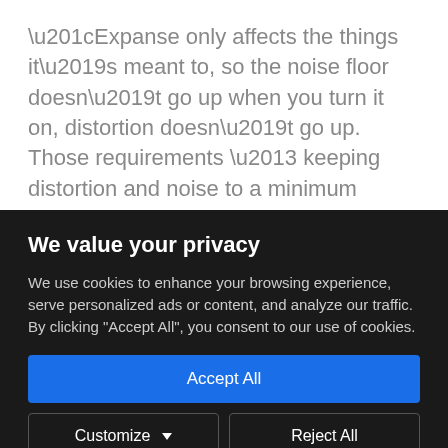“Expanse only affects the things it’s meant to, so the noise floor doesn’t go up when you turn it on, distortion doesn’t go up. Those requirements – keeping distortion and noise to a minimum – remain,” adds Andy. It also allows us to ensure that Expanse can be easily updated and refined over time.
We value your privacy
We use cookies to enhance your browsing experience, serve personalized ads or content, and analyze our traffic. By clicking "Accept All", you consent to our use of cookies.